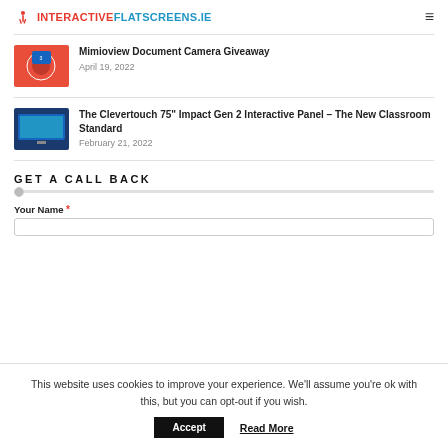INTERACTIVEFLATSCREENS.IE
Mimioview Document Camera Giveaway
April 19, 2022
The Clevertouch 75” Impact Gen 2 Interactive Panel – The New Classroom Standard
February 21, 2022
GET A CALL BACK
Your Name *
This website uses cookies to improve your experience. We'll assume you're ok with this, but you can opt-out if you wish.
Accept
Read More